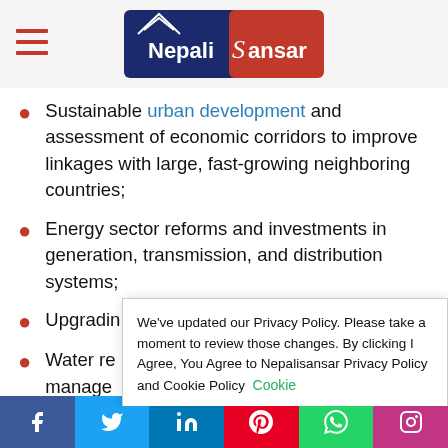Nepali Sansar logo with hamburger menu
Sustainable urban development and assessment of economic corridors to improve linkages with large, fast-growing neighboring countries;
Energy sector reforms and investments in generation, transmission, and distribution systems;
Upgrading...
Water re... manage... subsiste...
We've updated our Privacy Policy. Please take a moment to review those changes. By clicking I Agree, You Agree to Nepalisansar Privacy Policy and Cookie Policy Cookie settings AGREE
Social sharing bar: Facebook, Twitter, LinkedIn, Pinterest, WhatsApp, Instagram